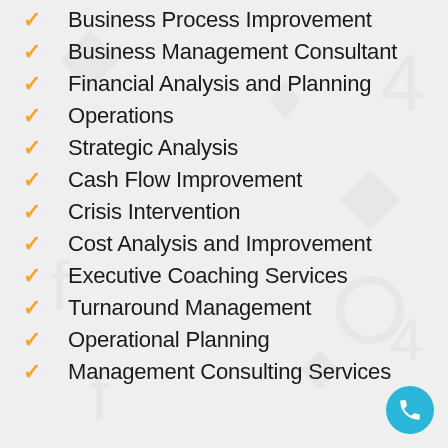Business Process Improvement
Business Management Consultant
Financial Analysis and Planning
Operations
Strategic Analysis
Cash Flow Improvement
Crisis Intervention
Cost Analysis and Improvement
Executive Coaching Services
Turnaround Management
Operational Planning
Management Consulting Services